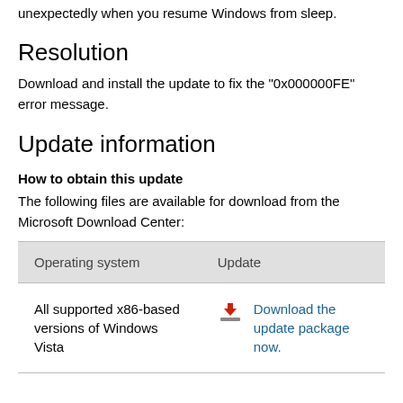unexpectedly when you resume Windows from sleep.
Resolution
Download and install the update to fix the "0x000000FE" error message.
Update information
How to obtain this update
The following files are available for download from the Microsoft Download Center:
| Operating system | Update |
| --- | --- |
| All supported x86-based versions of Windows Vista | Download the update package now. |